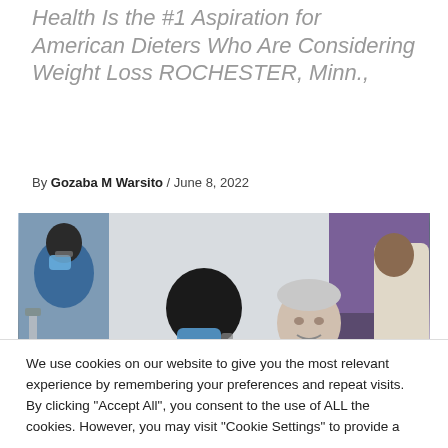Health Is the #1 Aspiration for American Dieters Who Are Considering Weight Loss ROCHESTER, Minn.,
By Gozaba M Warsito / June 8, 2022
[Figure (photo): A healthcare worker wearing a blue mask and glasses seen from behind, facing an elderly gray-haired man in a medical setting. Other medical staff visible in the background.]
We use cookies on our website to give you the most relevant experience by remembering your preferences and repeat visits. By clicking "Accept All", you consent to the use of ALL the cookies. However, you may visit "Cookie Settings" to provide a